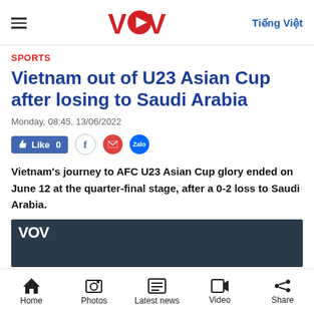VOV — Tiếng Việt
SPORTS
Vietnam out of U23 Asian Cup after losing to Saudi Arabia
Monday, 08:45, 13/06/2022
[Figure (other): Social sharing buttons: Like 0, Facebook, Email, Zalo]
Vietnam's journey to AFC U23 Asian Cup glory ended on June 12 at the quarter-final stage, after a 0-2 loss to Saudi Arabia.
[Figure (photo): VOV video thumbnail showing football players on a pitch, partially visible]
Home | Photos | Latest news | Video | Share